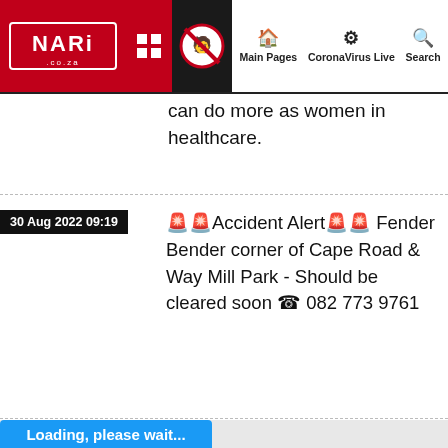NARI.co.za | Main Pages | CoronaVirus Live | Search
can do more as women in healthcare.
30 Aug 2022 09:19
🚨🚨Accident Alert🚨🚨 Fender Bender corner of Cape Road & Way Mill Park - Should be cleared soon ☎ 082 773 9761
Loading, please wait...